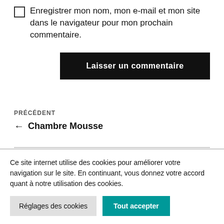Enregistrer mon nom, mon e-mail et mon site dans le navigateur pour mon prochain commentaire.
Laisser un commentaire
PRÉCÉDENT
← Chambre Mousse
Ce site internet utilise des cookies pour améliorer votre navigation sur le site. En continuant, vous donnez votre accord quant à notre utilisation des cookies.
Réglages des cookies
Tout accepter